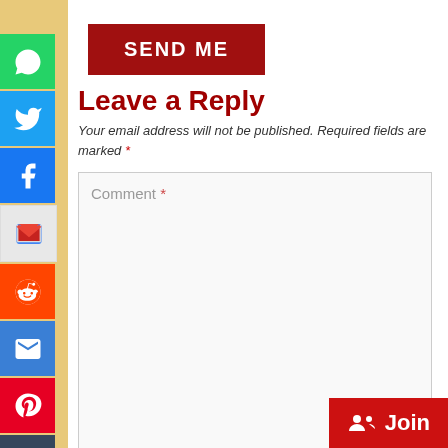[Figure (other): SEND ME red button]
[Figure (other): Social media sharing sidebar icons: WhatsApp, Twitter, Facebook, Gmail, Reddit, Email, Pinterest, Tumblr, LinkedIn, More]
Leave a Reply
Your email address will not be published. Required fields are marked *
Comment *
[Figure (other): Join button in red at bottom right]